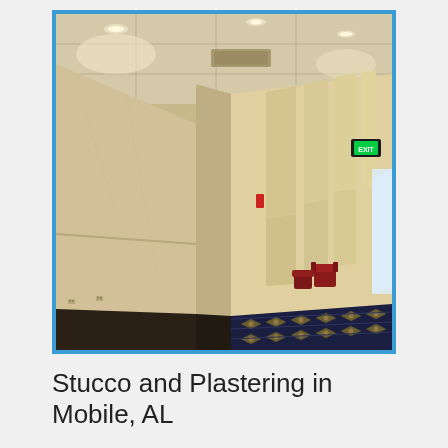[Figure (photo): Interior hallway of a hotel or convention center with stucco/plastered walls in a warm beige/cream color. The corridor recedes into the distance toward glass doors with light beyond. A patterned navy and gold carpet covers the floor. Red armchairs are visible midway down the hall. Recessed ceiling lights illuminate the space. A green exit sign is visible on the right side of the corridor.]
Stucco and Plastering in Mobile, AL